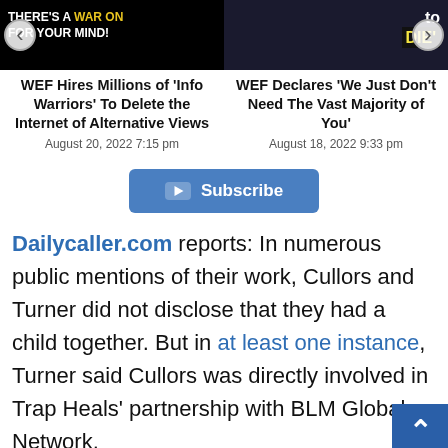[Figure (screenshot): Left card image: dark background with text 'THERE'S A WAR ON FOR YOUR MIND!']
[Figure (screenshot): Right card image: dark background with text 'to DIE']
WEF Hires Millions of 'Info Warriors' To Delete the Internet of Alternative Views
August 20, 2022 7:15 pm
WEF Declares 'We Just Don't Need The Vast Majority of You'
August 18, 2022 9:33 pm
[Figure (other): YouTube Subscribe button]
Dailycaller.com reports: In numerous public mentions of their work, Cullors and Turner did not disclose that they had a child together. But in at least one instance, Turner said Cullors was directly involved in Trap Heals' partnership with BLM Global Network.